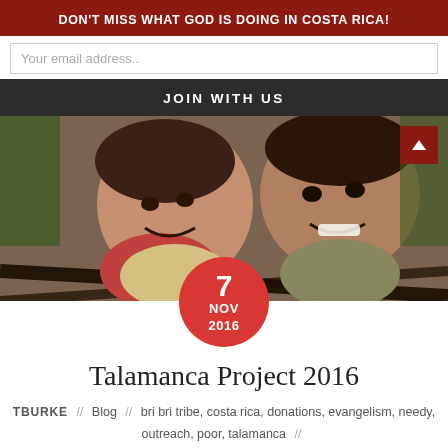DON'T MISS WHAT GOD IS DOING IN COSTA RICA!
Your email address..
JOIN WITH US
[Figure (photo): Two smiling young children, likely indigenous, sitting in a hammock outdoors in Costa Rica]
7 NOV 2016
Talamanca Project 2016
TBURKE // Blog // bri bri tribe, costa rica, donations, evangelism, needy, outreach, poor, talamanca //